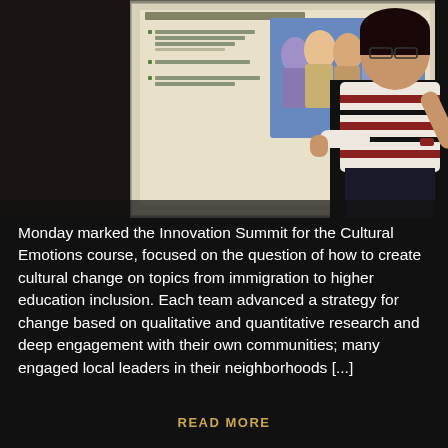[Figure (photo): A young woman presenter standing in front of a projection screen, gesturing with her hands. The screen displays a presentation slide with bullet points and an image of a diverse group of young people. The room appears to be a classroom or conference room.]
Monday marked the Innovation Summit for the Cultural Emotions course, focused on the question of how to create cultural change on topics from immigration to higher education inclusion. Each team advanced a strategy for change based on qualitative and quantitative research and deep engagement with their own communities; many engaged local leaders in their neighborhoods [...]
READ MORE